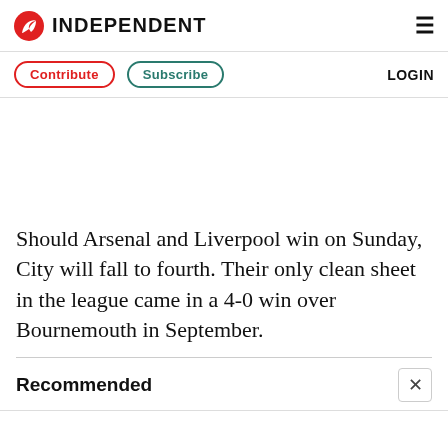INDEPENDENT
Should Arsenal and Liverpool win on Sunday, City will fall to fourth. Their only clean sheet in the league came in a 4-0 win over Bournemouth in September.
Recommended